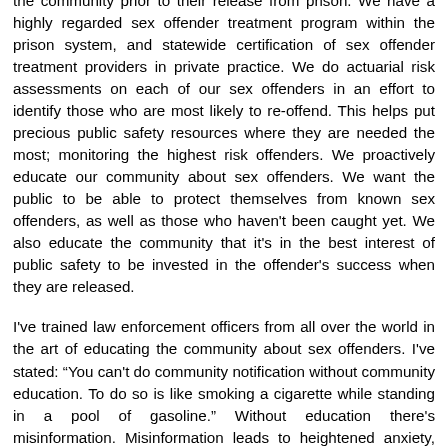the community prior to their release from prison. We have a highly regarded sex offender treatment program within the prison system, and statewide certification of sex offender treatment providers in private practice. We do actuarial risk assessments on each of our sex offenders in an effort to identify those who are most likely to re-offend. This helps put precious public safety resources where they are needed the most; monitoring the highest risk offenders. We proactively educate our community about sex offenders. We want the public to be able to protect themselves from known sex offenders, as well as those who haven't been caught yet. We also educate the community that it's in the best interest of public safety to be invested in the offender's success when they are released.
I've trained law enforcement officers from all over the world in the art of educating the community about sex offenders. I've stated: “You can't do community notification without community education. To do so is like smoking a cigarette while standing in a pool of gasoline.” Without education there's misinformation. Misinformation leads to heightened anxiety, which in some cases, leads to vigilantism. The